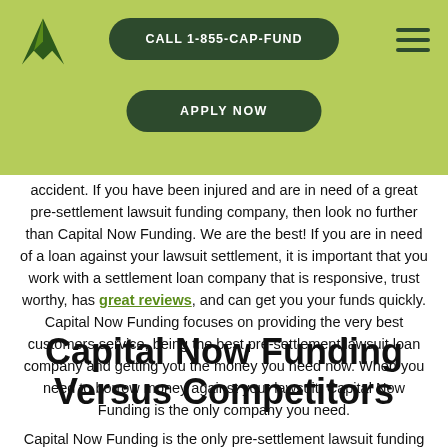CALL 1-855-CAP-FUND | APPLY NOW
accident. If you have been injured and are in need of a great pre-settlement lawsuit funding company, then look no further than Capital Now Funding. We are the best! If you are in need of a loan against your lawsuit settlement, it is important that you work with a settlement loan company that is responsive, trust worthy, has great reviews, and can get you your funds quickly. Capital Now Funding focuses on providing the very best customers service, being the best pre-settlement lawsuit loan company and getting you the money you need now. When you need to borrow money against your lawsuit, Capital Now Funding is the only company you need.
Capital Now Funding Versus Competitors
Capital Now Funding is the only pre-settlement lawsuit funding